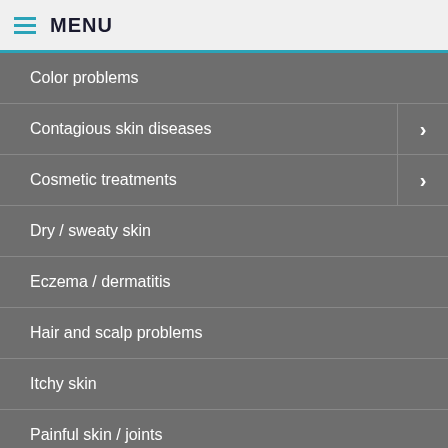MENU
Color problems
Contagious skin diseases
Cosmetic treatments
Dry / sweaty skin
Eczema / dermatitis
Hair and scalp problems
Itchy skin
Painful skin / joints
Rashes...